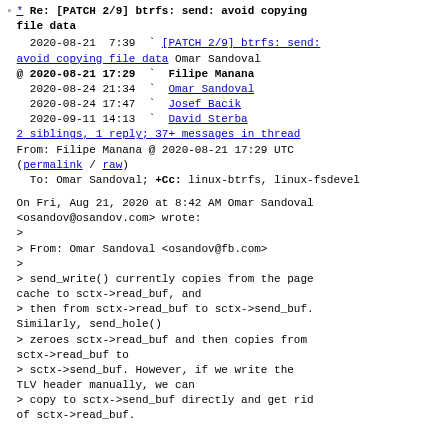* Re: [PATCH 2/9] btrfs: send: avoid copying file data
  2020-08-21  7:39  ` [PATCH 2/9] btrfs: send: avoid copying file data  Omar Sandoval
@ 2020-08-21 17:29  `  Filipe Manana
  2020-08-24 21:34  `  Omar Sandoval
  2020-08-24 17:47  `  Josef Bacik
  2020-09-11 14:13  `  David Sterba
  2 siblings, 1 reply; 37+ messages in thread
From: Filipe Manana @ 2020-08-21 17:29 UTC
(permalink / raw)
  To: Omar Sandoval; +Cc: linux-btrfs, linux-fsdevel

On Fri, Aug 21, 2020 at 8:42 AM Omar Sandoval <osandov@osandov.com> wrote:
>
> From: Omar Sandoval <osandov@fb.com>
>
> send_write() currently copies from the page cache to sctx->read_buf, and
> then from sctx->read_buf to sctx->send_buf. Similarly, send_hole()
> zeroes sctx->read_buf and then copies from sctx->read_buf to
> sctx->send_buf. However, if we write the TLV header manually, we can
> copy to sctx->send_buf directly and get rid of sctx->read_buf.